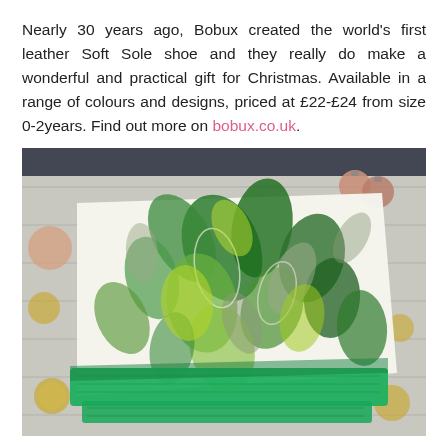Nearly 30 years ago, Bobux created the world's first leather Soft Sole shoe and they really do make a wonderful and practical gift for Christmas. Available in a range of colours and designs, priced at £22-£24 from size 0-2years. Find out more on bobux.co.uk.
[Figure (photo): A folded white fabric blanket/swaddle with a tropical green leaf print pattern and a green border/edge, laid on a light grey wooden surface with decorative gold glitter circles and rose gold Christmas baubles in the corners.]